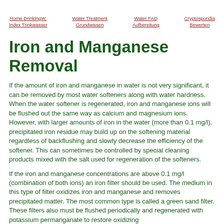Home DrinkingW. Index Trinkwasser | Water Treatment Grundwissen | Water FAQ Aufbereitung | Cryptosporidia Bewerten
Iron and Manganese Removal
If the amount of iron and manganese in water is not very significant, it can be removed by most water softeners along with water hardness. When the water softener is regenerated, iron and manganese ions will be flushed out the same way as calcium and magnesium ions. However, with larger amounts of iron in the water (more than 0.1 mg/l), precipitated iron residue may build up on the softening material regardless of backflushing and slowly decrease the efficiency of the softener. This can sometimes be controlled by special cleaning products mixed with the salt used for regeneration of the softeners.
If the iron and manganese concentrations are above 0.1 mg/l (combination of both ions) an iron filter should be used. The medium in this type of filter oxidizes iron and manganese and removes precipitated matter. The most common type is called a green sand filter. These filters also must be flushed periodically and regenerated with potassium permanganate to restore oxidizing